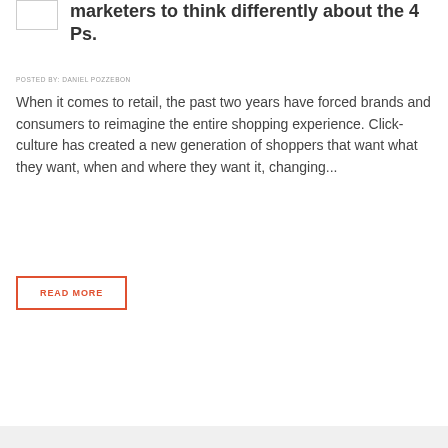[Figure (other): Small thumbnail image placeholder box (white rectangle with grey border)]
marketers to think differently about the 4 Ps.
POSTED BY: DANIEL POZZEBON
When it comes to retail, the past two years have forced brands and consumers to reimagine the entire shopping experience. Click-culture has created a new generation of shoppers that want what they want, when and where they want it, changing...
READ MORE